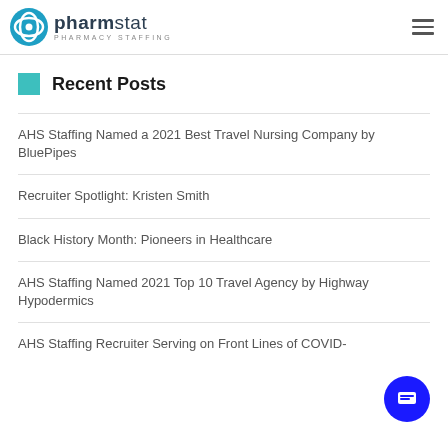pharmstat PHARMACY STAFFING
Recent Posts
AHS Staffing Named a 2021 Best Travel Nursing Company by BluePipes
Recruiter Spotlight: Kristen Smith
Black History Month: Pioneers in Healthcare
AHS Staffing Named 2021 Top 10 Travel Agency by Highway Hypodermics
AHS Staffing Recruiter Serving on Front Lines of COVID-